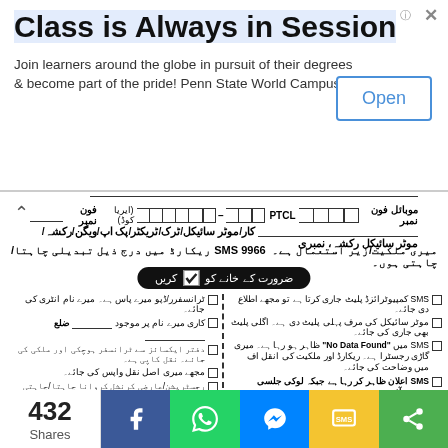[Figure (screenshot): Advertisement banner: 'Class is Always in Session' - Penn State World Campus ad with Open button]
موبائل فون نمبر | PTCL فون نمبر (ایریا کوڈ) — phone number fields with boxes
کار/موٹر سائیکل/ٹرک/ٹریکٹر/پک اپ/ویگن/رکشہ/موٹر سائیکل رکشہ، نمبری
میری ملکیت/زیر استعمال ہے۔ 9966 SMS ریکارڈ میں درج ذیل تبدیلی چاہتا/چاہتی ہوں۔
SMS کمپیوٹرائزڈ پلیٹ جاری کرتا ہے تو مجھے اطلاع دی جائے
ٹرانسفرر/ڈپو میرے پاس ہے۔ میرے نام انٹری کی جائے
موٹر سائیکل کی مرف پہلی پلیٹ دی ہے۔ اگلی پلیٹ بھی جاری کی جائے
SMS میں 'No Data Found' ظاہر ہو رہا ہے۔ میری گاڑی رجسٹرا ہے۔ ریکارڈ اور ملکیت کی انقل اف میں وضاحت کی جائے
کاری میرے نام پر موجود _____ ضلع
SMS اعلان ظاہر کر رہا ہے جبکہ لوکل جلسی پوسٹ آفس _____ ضلع _____ میں P.O No._____ قیمت شدہ بہانہات درست کیا جائے
دفتر ایکسائز سے ٹرانسفر ہوچکی اور ملکی کی جائے۔ نقل کاپی ہے۔
مجھے میری اصل نقل واپس کی جائے
SMS ذریعہ ظاہر کر رہا ہے جبکہ لوکن جلسی دفتر ایکساز _____ ضلع
رجسٹریشن/عارضی کرنشل کروانا چاہتا/چاہتی ہوں
میری چوری شدہ گاڑی بعد از آمد میرے پاس سپرداری پر ہے۔ لہذا اسکر چوری شدہ کی لسٹ سے اکلا جائے
432 Shares
[Figure (infographic): Social sharing bar with Facebook, WhatsApp, Messenger, SMS, and Share icons]